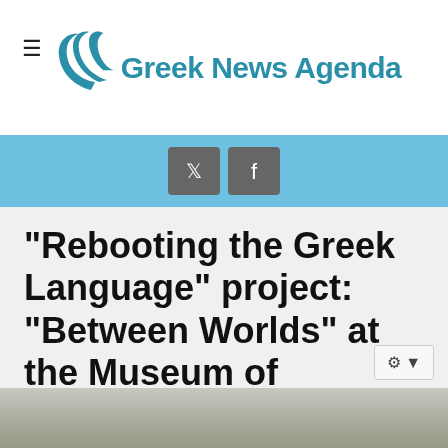Greek News Agenda
[Figure (logo): Greek News Agenda logo with teal bird/signal icon and bold teal text]
[Figure (infographic): Light blue social bar with Twitter and Facebook icon buttons]
"Rebooting the Greek Language" project: "Between Worlds" at the Museum of Vancouver
[Figure (photo): Partial photo of a person, cropped at bottom of page]